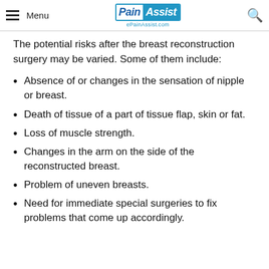Menu | PainAssist ePainAssist.com
The potential risks after the breast reconstruction surgery may be varied. Some of them include:
Absence of or changes in the sensation of nipple or breast.
Death of tissue of a part of tissue flap, skin or fat.
Loss of muscle strength.
Changes in the arm on the side of the reconstructed breast.
Problem of uneven breasts.
Need for immediate special surgeries to fix problems that come up accordingly.